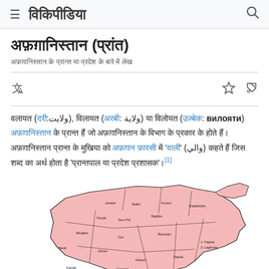विकिपीडिया
अफ़ग़ानिस्तान (प्रांत)
अफ़ग़ानिस्तान के प्रान्त या प्रदेश के बारे में लेख
वलायत (दरी:ولايت), विलायत (अरबी: ولاية) या विलोयत (उज़्बेक: вилояти) अफ़ग़ानिस्तान के प्रान्त हैं जो अफ़ग़ानिस्तान के विभाग के प्रकार के होते हैं। अफ़ग़ानिस्तान प्रान्त के मुखिया को अफ़ग़ान फ़ारसी में 'वाली' (والي) कहते हैं जिस शब्द का अर्थ होता है 'प्रान्तपाल या प्रदेश प्रशासक'।[1]
[Figure (map): Map of Afghanistan showing provinces in pink with labels]